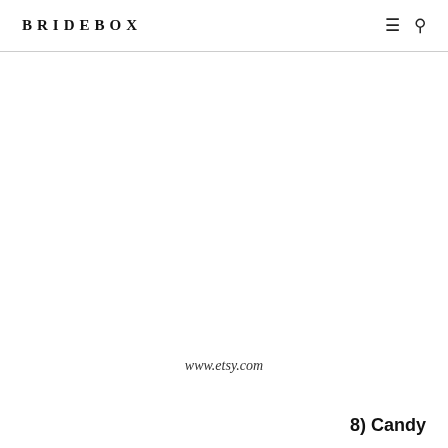BRIDEBOX
[Figure (illustration): Large blank/white image area between the header and the footer content]
www.etsy.com
8) Candy